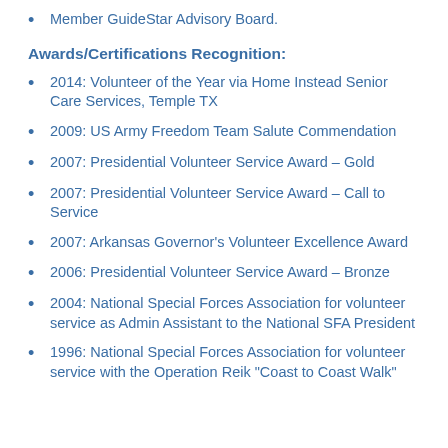Member GuideStar Advisory Board.
Awards/Certifications Recognition:
2014: Volunteer of the Year via Home Instead Senior Care Services, Temple TX
2009: US Army Freedom Team Salute Commendation
2007: Presidential Volunteer Service Award – Gold
2007: Presidential Volunteer Service Award – Call to Service
2007: Arkansas Governor's Volunteer Excellence Award
2006: Presidential Volunteer Service Award – Bronze
2004: National Special Forces Association for volunteer service as Admin Assistant to the National SFA President
1996: National Special Forces Association for volunteer service with the Operation Reik "Coast to Coast Walk"